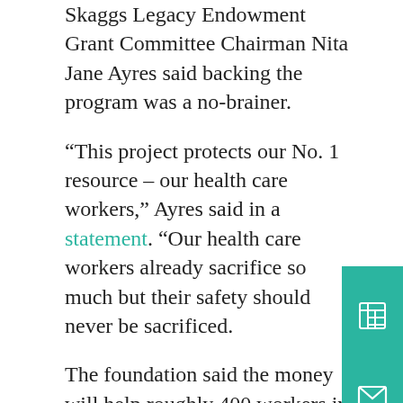Skaggs Legacy Endowment Grant Committee Chairman Nita Jane Ayres said backing the program was a no-brainer.
“This project protects our No. 1 resource – our health care workers,” Ayres said in a statement. “Our health care workers already sacrifice so much but their safety should never be sacrificed.
The foundation said the money will help roughly 400 workers in the emergency room and inpatient rooms receive a panic button on their badge. When the button is pressed, a personal tracing system will be activated and security is notified. A pop-up alert will also appear on hospital computers which shows the worker’s exact location using a wireless system throughout the hospital.
The tracing system will be updated if the employee moves after pushing the button, the